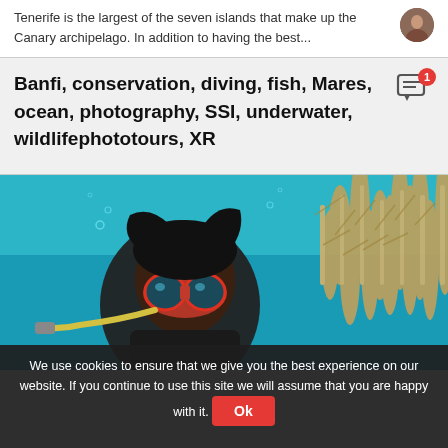Tenerife is the largest of the seven islands that make up the Canary archipelago. In addition to having the best...
Banfi, conservation, diving, fish, Mares, ocean, photography, SSI, underwater, wildlifephototours, XR
[Figure (photo): Underwater photo of a diver wearing red goggles and black wetsuit near coral reef with turquoise water background]
We use cookies to ensure that we give you the best experience on our website. If you continue to use this site we will assume that you are happy with it. Ok